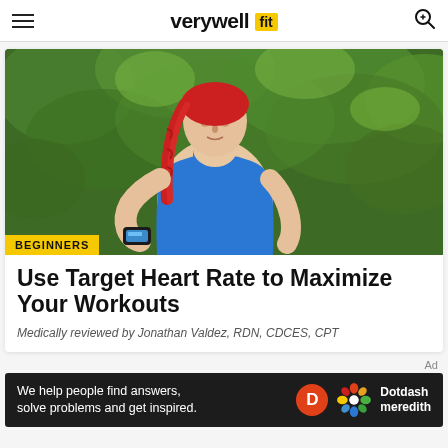verywell fit
[Figure (photo): Woman with red braided hair wearing a blue tank top, looking down at a fitness tracker/smartwatch, standing outdoors with green trees in the background. Category badge 'BEGINNERS' shown at bottom left of image.]
Use Target Heart Rate to Maximize Your Workouts
Medically reviewed by Jonathan Valdez, RDN, CDCES, CPT
We help people find answers, solve problems and get inspired.
Dotdash meredith